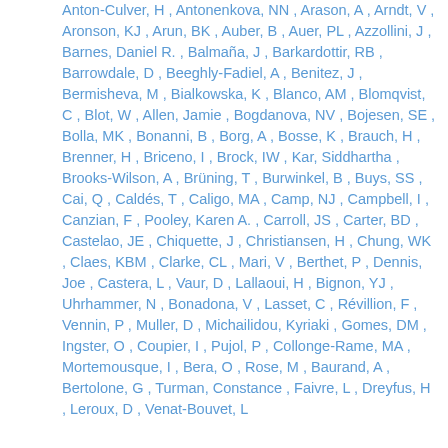Anton-Culver, H , Antonenkova, NN , Arason, A , Arndt, V , Aronson, KJ , Arun, BK , Auber, B , Auer, PL , Azzollini, J , Barnes, Daniel R. , Balmaña, J , Barkardottir, RB , Barrowdale, D , Beeghly-Fadiel, A , Benitez, J , Bermisheva, M , Bialkowska, K , Blanco, AM , Blomqvist, C , Blot, W , Allen, Jamie , Bogdanova, NV , Bojesen, SE , Bolla, MK , Bonanni, B , Borg, A , Bosse, K , Brauch, H , Brenner, H , Briceno, I , Brock, IW , Kar, Siddhartha , Brooks-Wilson, A , Brüning, T , Burwinkel, B , Buys, SS , Cai, Q , Caldés, T , Caligo, MA , Camp, NJ , Campbell, I , Canzian, F , Pooley, Karen A. , Carroll, JS , Carter, BD , Castelao, JE , Chiquette, J , Christiansen, H , Chung, WK , Claes, KBM , Clarke, CL , Mari, V , Berthet, P , Dennis, Joe , Castera, L , Vaur, D , Lallaoui, H , Bignon, YJ , Uhrhammer, N , Bonadona, V , Lasset, C , Révillion, F , Vennin, P , Muller, D , Michailidou, Kyriaki , Gomes, DM , Ingster, O , Coupier, I , Pujol, P , Collonge-Rame, MA , Mortemousque, I , Bera, O , Rose, M , Baurand, A , Bertolone, G , Turman, Constance , Faivre, L , Dreyfus, H , Leroux, D , Venat-Bouvet, L